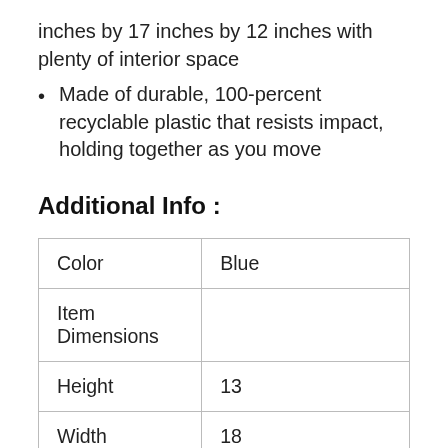inches by 17 inches by 12 inches with plenty of interior space
Made of durable, 100-percent recyclable plastic that resists impact, holding together as you move
Additional Info :
| Color | Blue |
| Item Dimensions |  |
| Height | 13 |
| Width | 18 |
| Length | 28 |